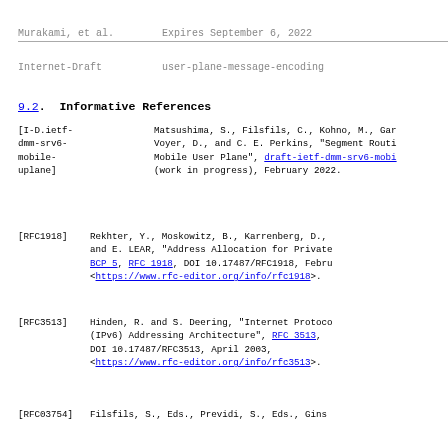Murakami, et al.        Expires September 6, 2022
Internet-Draft          user-plane-message-encoding
9.2.  Informative References
[I-D.ietf-dmm-srv6-mobile-uplane] Matsushima, S., Filsfils, C., Kohno, M., Gar... Voyer, D., and C. E. Perkins, "Segment Routi... Mobile User Plane", draft-ietf-dmm-srv6-mobi... (work in progress), February 2022.
[RFC1918] Rekhter, Y., Moskowitz, B., Karrenberg, D., ... and E. LEAR, "Address Allocation for Private... BCP 5, RFC 1918, DOI 10.17487/RFC1918, Febru... <https://www.rfc-editor.org/info/rfc1918>.
[RFC3513] Hinden, R. and S. Deering, "Internet Protoco... (IPv6) Addressing Architecture", RFC 3513, DOI 10.17487/RFC3513, April 2003, <https://www.rfc-editor.org/info/rfc3513>.
[RFC03754] Filsfils...